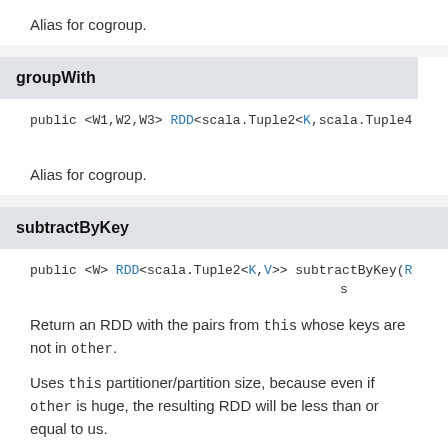Alias for cogroup.
groupWith
public <W1,W2,W3> RDD<scala.Tuple2<K,scala.Tuple4...
Alias for cogroup.
subtractByKey
public <W> RDD<scala.Tuple2<K,V>> subtractByKey(R...
Return an RDD with the pairs from this whose keys are not in other.
Uses this partitioner/partition size, because even if other is huge, the resulting RDD will be less than or equal to us.
Parameters: